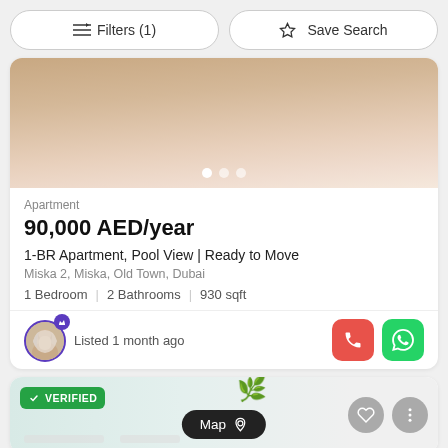Filters (1)   Save Search
[Figure (photo): Interior photo of a room with wooden flooring, image carousel with 3 dots]
Apartment
90,000 AED/year
1-BR Apartment, Pool View | Ready to Move
Miska 2, Miska, Old Town, Dubai
1 Bedroom | 2 Bathrooms | 930 sqft
Listed 1 month ago
[Figure (screenshot): Second listing card partially visible with VERIFIED badge, Map button, heart and more icons, interior photo with plant decor]